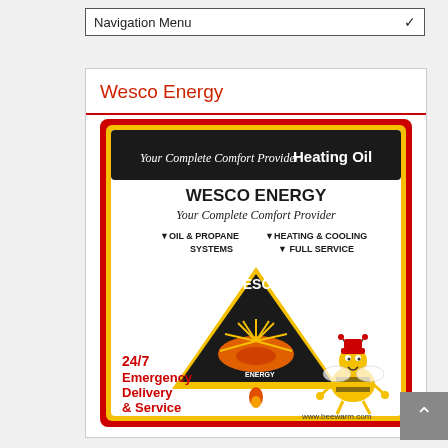Navigation Menu
Wesco Energy
[Figure (illustration): Wesco Energy advertisement. Black header banner reads 'Your Complete Comfort Provider Heating Oil'. Below: 'WESCO ENERGY Your Complete Comfort Provider' with services listed: OIL & PROPANE, HEATING & COOLING SYSTEMS, FULL SERVICE. Central inverted triangle logo with WESCO branding and a sunrise/flame graphic. Red text: '24/7 Emergency Delivery & Service'. Cartoon bee mascot on right. Website: www.beewarm.com. Advertisement has red and yellow border.]